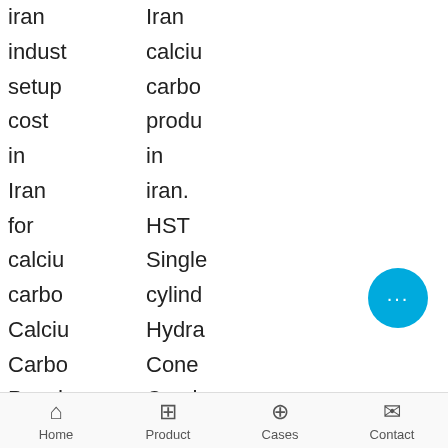| iran | iran |
| --- | --- |
| indust | calciu |
| setup | carbo |
| cost | produ |
| in | in |
| Iran | iran. |
| for | HST |
| calciu | Single |
| carbo | cylind |
| Calciu | Hydra |
| Carbo | Cone |
| Powde | Crush |
| Produ | MTM |
| Line | Mediu |
| In | Speed |
| Iran. | Grindi |
| As it | Mill . |
[Figure (other): Red chat now widget with close X button and speech bubble icon in top right area]
[Figure (other): Blue circular chat button with three dots]
Home  Product  Cases  Contact